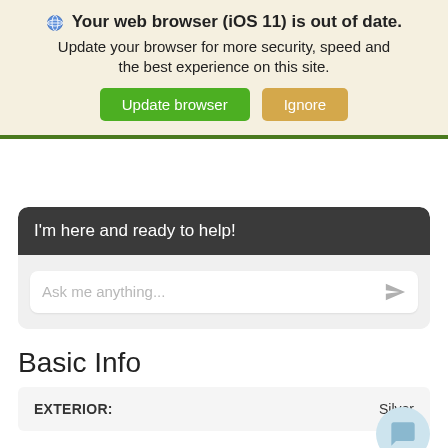🌐 Your web browser (iOS 11) is out of date. Update your browser for more security, speed and the best experience on this site. [Update browser] [Ignore]
I'm here and ready to help!
Ask me anything...
Basic Info
| EXTERIOR: | Silver |
| --- | --- |